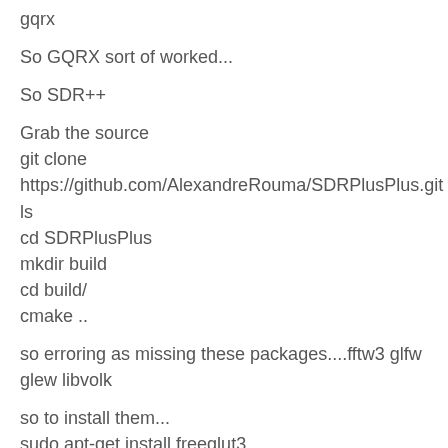gqrx
So GQRX sort of worked...
So SDR++
Grab the source
git clone
https://github.com/AlexandreRouma/SDRPlusPlus.git
ls
cd SDRPlusPlus
mkdir build
cd build/
cmake ..
so erroring as missing these packages....fftw3 glfw glew libvolk
so to install them...
sudo apt-get install freeglut3
sudo apt-get install freeglut3-dev
cmake